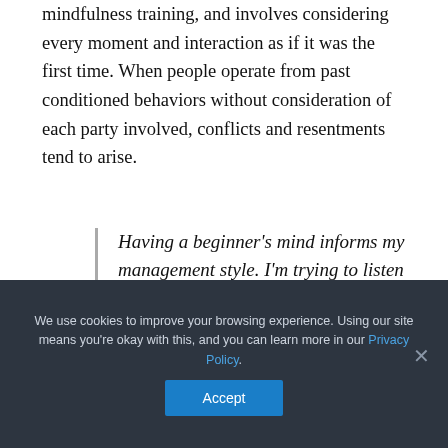mindfulness training, and involves considering every moment and interaction as if it was the first time. When people operate from past conditioned behaviors without consideration of each party involved, conflicts and resentments tend to arise.
Having a beginner's mind informs my management style. I'm trying to listen deeply, and
We use cookies to improve your browsing experience. Using our site means you're okay with this, and you can learn more in our Privacy Policy. [Accept]